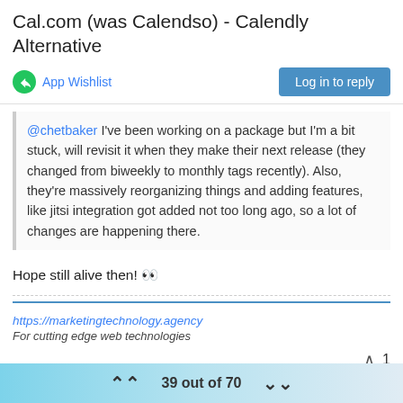Cal.com (was Calendso) - Calendly Alternative
App Wishlist
@chetbaker I've been working on a package but I'm a bit stuck, will revisit it when they make their next release (they changed from biweekly to monthly tags recently). Also, they're massively reorganizing things and adding features, like jitsi integration got added not too long ago, so a lot of changes are happening there.
Hope still alive then! 👀
https://marketingtechnology.agency
For cutting edge web technologies
39 out of 70